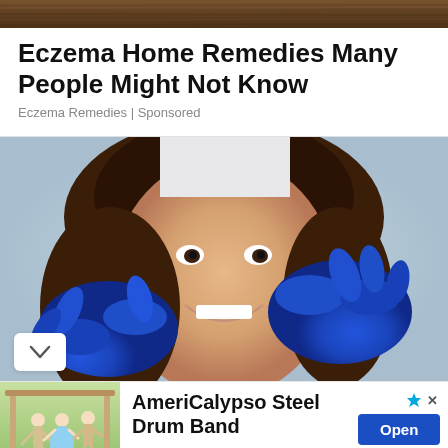[Figure (photo): Top banner image showing wooden texture background]
Eczema Home Remedies Many People Might Not Know
Eczema Remedies | Sponsored
[Figure (photo): Dental or medical photo of a young smiling woman with brown hair having her teeth or cheeks examined by a person wearing blue medical gloves]
[Figure (photo): Advertisement banner: AmeriCalypso Steel Drum Band. Shows people dancing at an outdoor event. Includes Open button and AmeriCalypso label.]